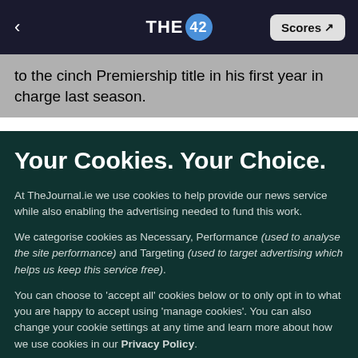THE 42 | Scores
to the cinch Premiership title in his first year in charge last season.
Your Cookies. Your Choice.
At TheJournal.ie we use cookies to help provide our news service while also enabling the advertising needed to fund this work.
We categorise cookies as Necessary, Performance (used to analyse the site performance) and Targeting (used to target advertising which helps us keep this service free).
You can choose to 'accept all' cookies below or to only opt in to what you are happy to accept using 'manage cookies'. You can also change your cookie settings at any time and learn more about how we use cookies in our Privacy Policy.